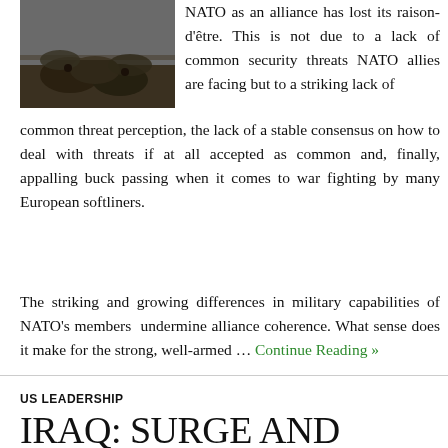[Figure (photo): Black and white photograph of animals (likely pigs or boars) in mud]
NATO as an alliance has lost its raison-d'être. This is not due to a lack of common security threats NATO allies are facing but to a striking lack of common threat perception, the lack of a stable consensus on how to deal with threats if at all accepted as common and, finally, appalling buck passing when it comes to war fighting by many European softliners.
The striking and growing differences in military capabilities of NATO's members undermine alliance coherence. What sense does it make for the strong, well-armed … Continue Reading »
US LEADERSHIP
IRAQ: SURGE AND